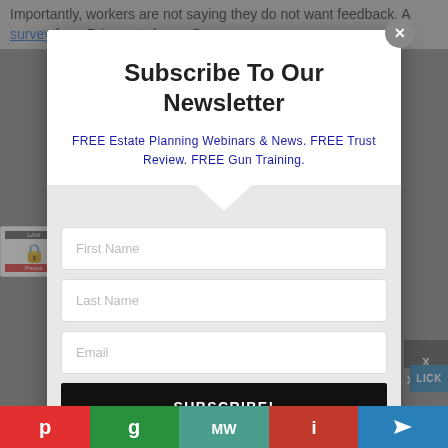Importantly, workers are not saying they do not want feedback. A survey from PricewaterhouseCoopers
[Figure (screenshot): Newsletter subscription modal overlay on a webpage. Modal contains title 'Subscribe To Our Newsletter', subtitle text about free estate planning webinars, trust review, and gun training, input fields for First Name, Last Name, Email, and a Subscribe button. A close (X) button is in the top right corner.]
Subscribe To Our Newsletter
FREE Estate Planning Webinars & News. FREE Trust Review. FREE Gun Training.
First Name
Last Name
Email
SUBSCRIBE!